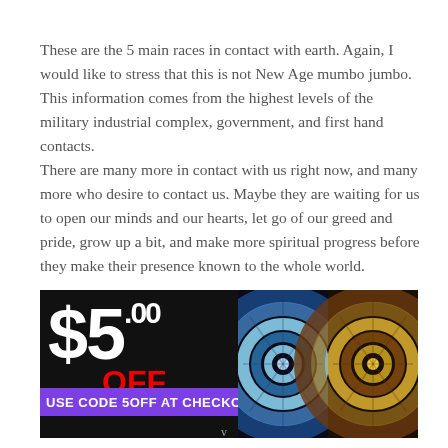These are the 5 main races in contact with earth. Again, I would like to stress that this is not New Age mumbo jumbo. This information comes from the highest levels of the military industrial complex, government, and first hand contacts.
There are many more in contact with us right now, and many more who desire to contact us. Maybe they are waiting for us to open our minds and our hearts, let go of our greed and pride, grow up a bit, and make more spiritual progress before they make their presence known to the whole world.
[Figure (photo): Advertisement showing $5.00 OFF discount with promo code '5OFF AT CHECKOUT' in purple bar, alongside tie-dye shirt images]
v